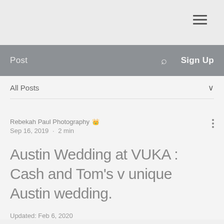≡ (hamburger menu icon)
Post  🔍  Sign Up
All Posts
Rebekah Paul Photography 👑
Sep 16, 2019  ·  2 min
Austin Wedding at VUKA : Cash and Tom's v unique Austin wedding.
Updated: Feb 6, 2020